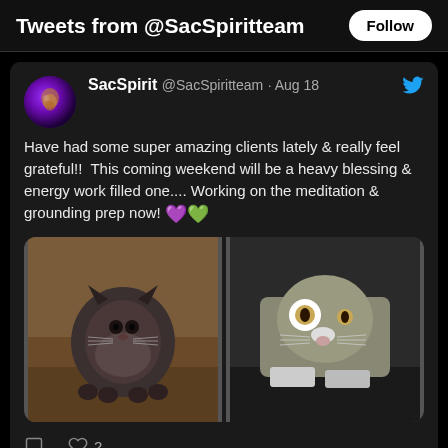Tweets from @SacSpiritteam
SacSpirit @SacSpiritteam · Aug 18
Have had some super amazing clients lately & really feel grateful!!  This coming weekend will be a heavy blessing & energy work filled one.... Working on the meditation & grounding prep now! 💜💚
[Figure (photo): Two cats side by side: left is a dark fluffy cat sitting on a wood floor looking at camera; right is a gray and white tabby cat looking down near a dark surface.]
2 likes